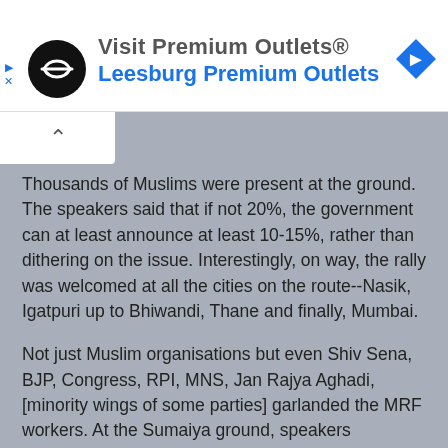[Figure (screenshot): Advertisement banner for Premium Outlets - Leesburg Premium Outlets with circular black logo and blue diamond arrow icon]
Thousands of Muslims were present at the ground. The speakers said that if not 20%, the government can at least announce at least 10-15%, rather than dithering on the issue. Interestingly, on way, the rally was welcomed at all the cities on the route--Nasik, Igatpuri up to Bhiwandi, Thane and finally, Mumbai.
Not just Muslim organisations but even Shiv Sena, BJP, Congress, RPI, MNS, Jan Rajya Aghadi, [minority wings of some parties] garlanded the MRF workers. At the Sumaiya ground, speakers repeatedly raised the issue of implementation of either Sachar panel or Ranganath Mishra commission reports.
Abu Asim Azmi, the Samajwadi Party (SP) leader said that